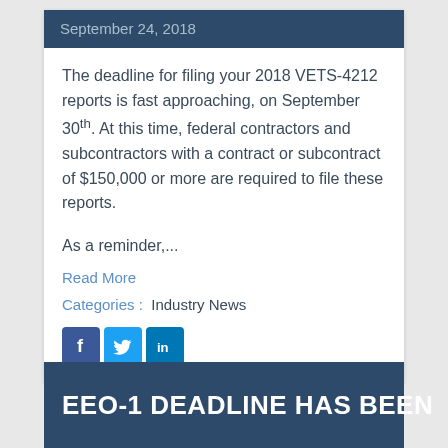September 24, 2018
The deadline for filing your 2018 VETS-4212 reports is fast approaching, on September 30th. At this time, federal contractors and subcontractors with a contract or subcontract of $150,000 or more are required to file these reports.
As a reminder,...
Read More
Categories :  Industry News
[Figure (illustration): Social media icons: Facebook (blue square with f), Twitter (light blue square with bird), LinkedIn (blue square with in)]
EEO-1 DEADLINE HAS BEEN